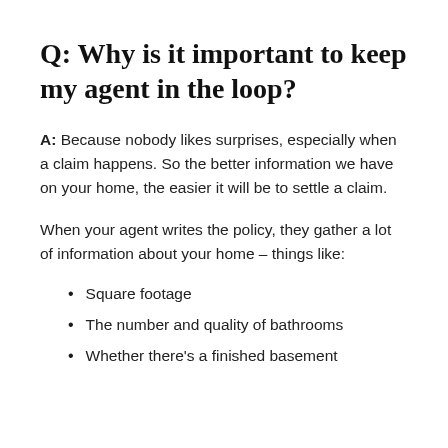Q: Why is it important to keep my agent in the loop?
A: Because nobody likes surprises, especially when a claim happens. So the better information we have on your home, the easier it will be to settle a claim.
When your agent writes the policy, they gather a lot of information about your home – things like:
Square footage
The number and quality of bathrooms
Whether there's a finished basement